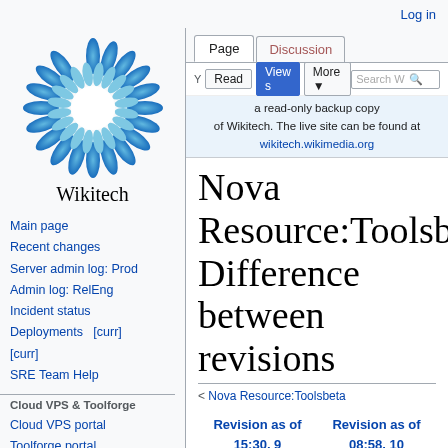Log in
[Figure (logo): Wikitech sunflower logo with blue petals]
Wikitech
Main page
Recent changes
Server admin log: Prod
Admin log: RelEng
Incident status
Deployments   [curr] [curr]
SRE Team Help
Cloud VPS & Toolforge
Cloud VPS portal
Toolforge portal
Request VPS project
Admin log: Cloud VPS
You are viewing a read-only backup copy of Wikitech. The live site can be found at wikitech.wikimedia.org
Nova Resource:Toolsbeta/SA Difference between revisions
< Nova Resource:Toolsbeta
| Revision as of 15:30, 9 December 2020 (view source) | Revision as of 08:58, 10 December 2020 (view source) |
| --- | --- |